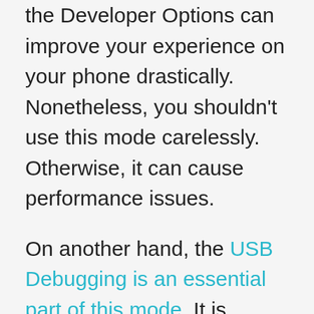the Developer Options can improve your experience on your phone drastically. Nonetheless, you shouldn't use this mode carelessly. Otherwise, it can cause performance issues.
On another hand, the USB Debugging is an essential part of this mode. It is required when it comes to connecting the phone to the computer to perform certain actions. These actions include updating process, development purpose, connecting it to the PC suite and other tools. In simple terms, it helps in establishing a proper connection between the phone and computer. Therefore it becomes important to aware yourself with these modes